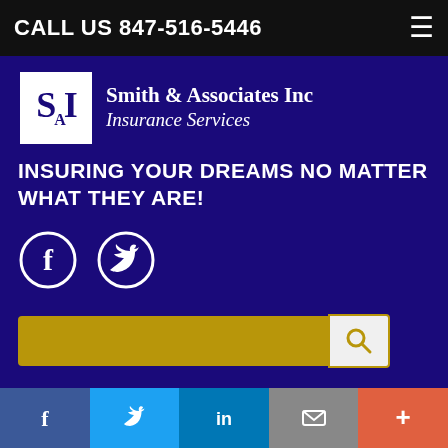CALL US 847-516-5446
[Figure (logo): Smith & Associates Inc Insurance Services logo with SAI monogram in white box on purple background]
INSURING YOUR DREAMS NO MATTER WHAT THEY ARE!
[Figure (illustration): Facebook and Twitter social media icon circles in white outline on purple background]
[Figure (other): Search bar with gold/yellow input field and white search button with magnifying glass icon]
QUICK LINKS
Home
A Quote
About Us
Our Carriers
Facebook | Twitter | LinkedIn | Email | More